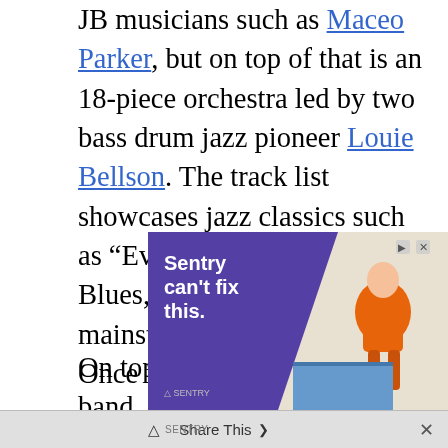JB musicians such as Maceo Parker, but on top of that is an 18-piece orchestra led by two bass drum jazz pioneer Louie Bellson. The track list showcases jazz classics such as “Everyday I Have the Blues,” as well as more mainstream hits like “For Once in My Life.”
On top of that, they’re also big band
[Figure (screenshot): Advertisement banner: Sentry can't fix this. Purple background with illustrated character on right side.]
Share This ⌄  ×